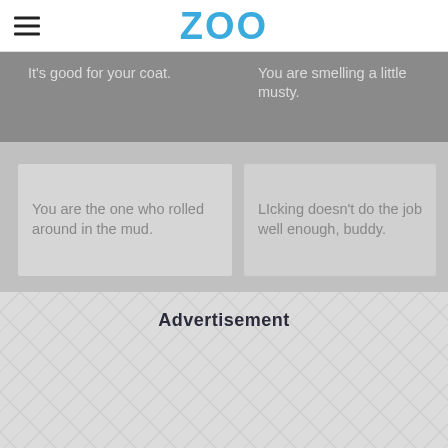ZOO
It's good for your coat.
You are smelling a little musty.
You are the one who rolled around in the mud.
LIcking doesn't do the job well enough, buddy.
Advertisement